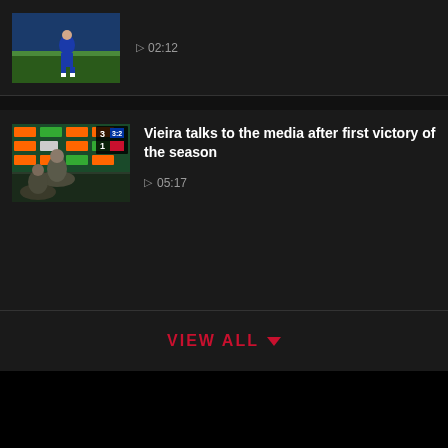[Figure (screenshot): Top video thumbnail showing a football/soccer player in blue kit on a green pitch]
▷ 02:12
[Figure (screenshot): Video thumbnail showing a press conference scene with scoreboard overlay showing 3-1]
Vieira talks to the media after first victory of the season
▷ 05:17
VIEW ALL ▾